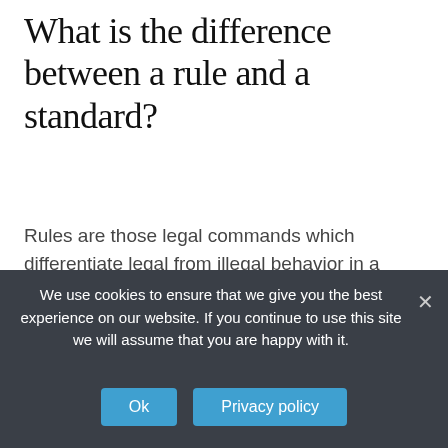What is the difference between a rule and a standard?
Rules are those legal commands which differentiate legal from illegal behavior in a simple and clear way. Standards, however, are general legal criteria which are unclear and fuzzy and require complicated judiciary decision making (Diver, 1983; Kaplow, 1992).
What is meant by code of
We use cookies to ensure that we give you the best experience on our website. If you continue to use this site we will assume that you are happy with it.
Ok
Privacy policy